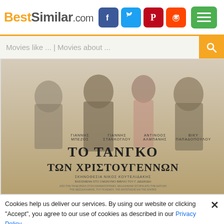BestSimilar.com
Movies like ... | Movies about ...
[Figure (photo): Movie poster for 'TO TANGKO TON XRISTOYGENNON' (The Christmas Tango), featuring Greek text, cast names ΓΙΑΝΝΗΣ ΜΠΕΖΟΣ, ΓΙΑΝΝΗΣ ΣΤΑΝΚΟΓΛΟΥ, ΑΝΤΙΝΟΟΣ ΑΛΜΠΑΝΗΣ, ΒΙΚΥ ΠΑΠΑΔΟΠΟΥΛΟΥ, directed by ΝΙΚΟΣ ΚΟΥΤΕΛΙΔΑΚΗΣ]
Cookies help us deliver our services. By using our website or clicking "Accept", you agree to our use of cookies as described in our Privacy Policy.
Preferences
Accept
Genre: Drama, Romance